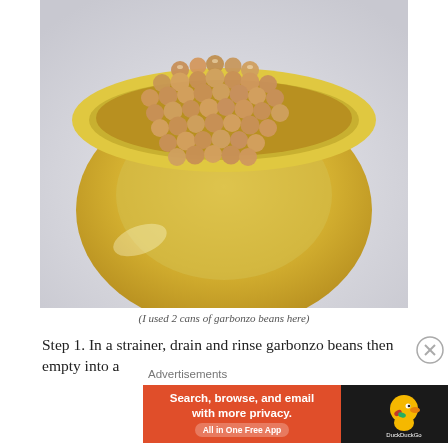[Figure (photo): Overhead view of chickpeas/garbonzo beans in a yellow ceramic bowl on a light background]
(I used 2 cans of garbonzo beans here)
Step 1. In a strainer, drain and rinse garbonzo beans then empty into a
Advertisements
[Figure (screenshot): DuckDuckGo advertisement banner: 'Search, browse, and email with more privacy. All in One Free App' with DuckDuckGo duck logo on dark background]